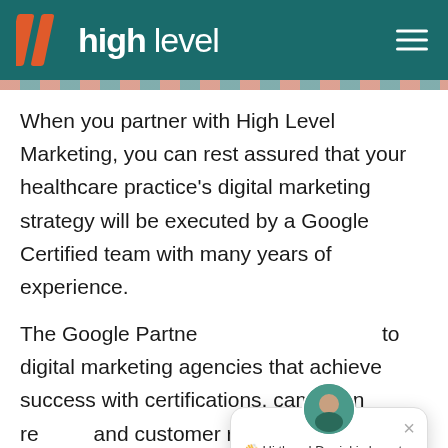high level
When you partner with High Level Marketing, you can rest assured that your healthcare practice's digital marketing strategy will be executed by a Google Certified team with many years of experience.
The Google Partne... to digital marketing agencies that achieve success with certifications, campaign re... and customer retention. Your medical
[Figure (screenshot): Chat popup with avatar of Daniel and message: Hi there! Daniel is here to help you find your way. With close button and teal chat bubble button.]